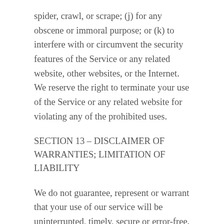spider, crawl, or scrape; (j) for any obscene or immoral purpose; or (k) to interfere with or circumvent the security features of the Service or any related website, other websites, or the Internet. We reserve the right to terminate your use of the Service or any related website for violating any of the prohibited uses.
SECTION 13 – DISCLAIMER OF WARRANTIES; LIMITATION OF LIABILITY
We do not guarantee, represent or warrant that your use of our service will be uninterrupted, timely, secure or error-free.
We do not warrant that the results that...